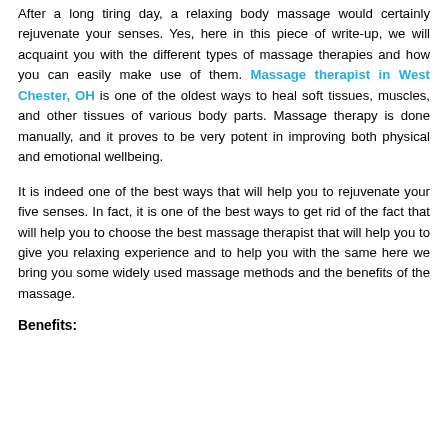After a long tiring day, a relaxing body massage would certainly rejuvenate your senses. Yes, here in this piece of write-up, we will acquaint you with the different types of massage therapies and how you can easily make use of them. Massage therapist in West Chester, OH is one of the oldest ways to heal soft tissues, muscles, and other tissues of various body parts. Massage therapy is done manually, and it proves to be very potent in improving both physical and emotional wellbeing.
It is indeed one of the best ways that will help you to rejuvenate your five senses. In fact, it is one of the best ways to get rid of the fact that will help you to choose the best massage therapist that will help you to give you relaxing experience and to help you with the same here we bring you some widely used massage methods and the benefits of the massage.
Benefits: